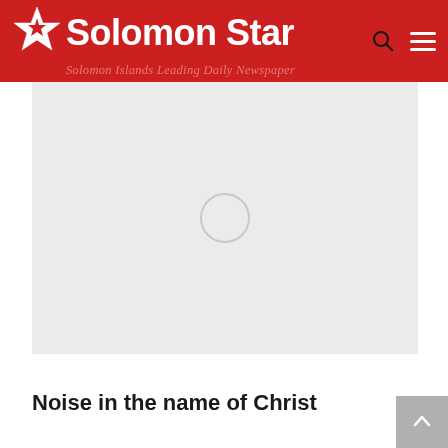Solomon Star — Solomon Islands Leading Daily Newspaper
[Figure (photo): A loading/placeholder image area with a spinner ring circle in the center, light gray background]
Noise in the name of Christ